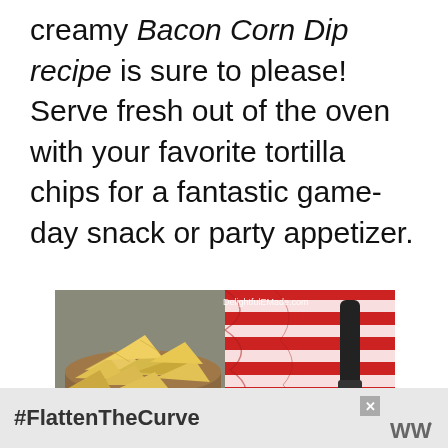creamy Bacon Corn Dip recipe is sure to please! Serve fresh out of the oven with your favorite tortilla chips for a fantastic game-day snack or party appetizer.
[Figure (photo): A bowl of tortilla chips on the left side, and a red and white striped kitchen towel with a dark-handled brush on the right, on a grey surface. Watermark reads DelightfulEMade.com]
#FlattenTheCurve